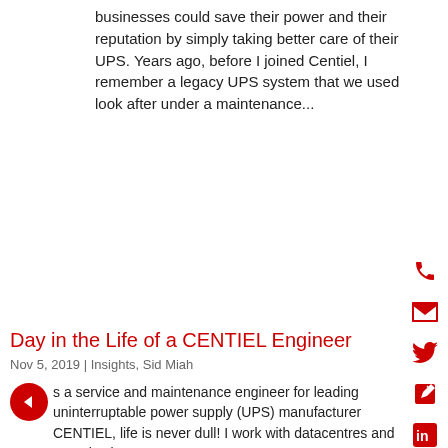businesses could save their power and their reputation by simply taking better care of their UPS. Years ago, before I joined Centiel, I remember a legacy UPS system that we used to look after under a maintenance...
[Figure (infographic): Vertical sidebar with five red social/contact icons: phone, email, Twitter bird, edit/share, LinkedIn]
Day in the Life of a CENTIEL Engineer
Nov 5, 2019 | Insights, Sid Miah
s a service and maintenance engineer for leading uninterruptable power supply (UPS) manufacturer CENTIEL, life is never dull! I work with datacentres and organisations